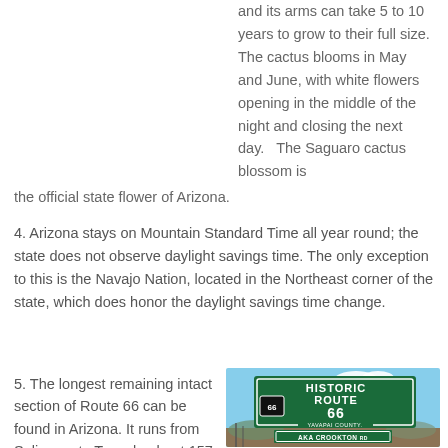and its arms can take 5 to 10 years to grow to their full size. The cactus blooms in May and June, with white flowers opening in the middle of the night and closing the next day.  The Saguaro cactus blossom is the official state flower of Arizona.
4. Arizona stays on Mountain Standard Time all year round; the state does not observe daylight savings time. The only exception to this is the Navajo Nation, located in the Northeast corner of the state, which does honor the daylight savings time change.
5. The longest remaining intact section of Route 66 can be found in Arizona. It runs from Seligman to Topock, about 157 unbroken miles. There are a
[Figure (photo): Photo of a green highway sign reading HISTORIC ROUTE 66 YAVAPAI COUNTY, with a Route 66 shield below and AKA CROOKTON RD sign beneath it, set against a blue sky with desert landscape in the background.]